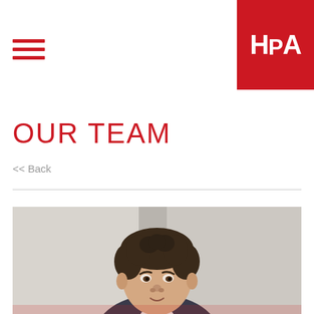[Figure (logo): HPA logo — white letters 'HPA' on red square background, top right corner]
[Figure (illustration): Hamburger menu icon — three horizontal red lines, top left]
OUR TEAM
<< Back
[Figure (photo): Professional headshot of a man with dark curly hair wearing a suit, photographed against a blurred architectural background]